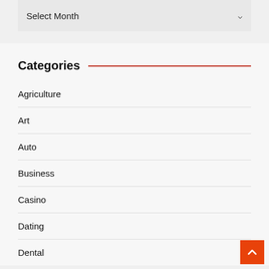Select Month
Categories
Agriculture
Art
Auto
Business
Casino
Dating
Dental